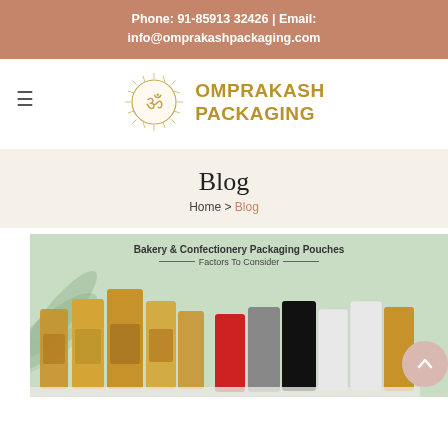Phone: 91-85913 32426 | Email: info@omprakashpackaging.com
[Figure (logo): Omprakash Packaging logo: circular Om symbol with sunburst, next to bold gold text OMPRAKASH PACKAGING]
Blog
Home > Blog
[Figure (photo): Banner image showing Bakery & Confectionery Packaging Pouches - Factors To Consider, with various kraft and colored stand-up pouches displayed on a green background]